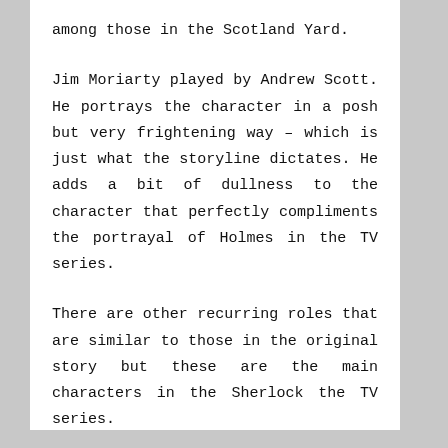among those in the Scotland Yard.
Jim Moriarty played by Andrew Scott. He portrays the character in a posh but very frightening way – which is just what the storyline dictates. He adds a bit of dullness to the character that perfectly compliments the portrayal of Holmes in the TV series.
There are other recurring roles that are similar to those in the original story but these are the main characters in the Sherlock the TV series.